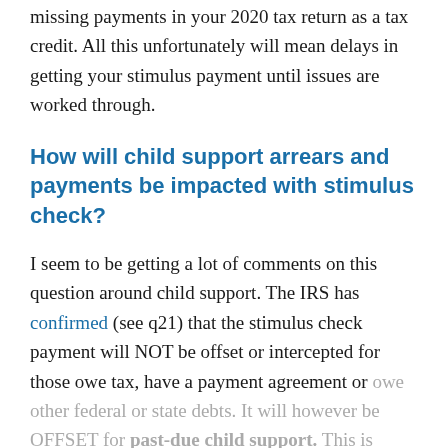missing payments in your 2020 tax return as a tax credit. All this unfortunately will mean delays in getting your stimulus payment until issues are worked through.
How will child support arrears and payments be impacted with stimulus check?
I seem to be getting a lot of comments on this question around child support. The IRS has confirmed (see q21) that the stimulus check payment will NOT be offset or intercepted for those owe tax, have a payment agreement or owe other federal or state debts. It will however be OFFSET for past-due child support. This is